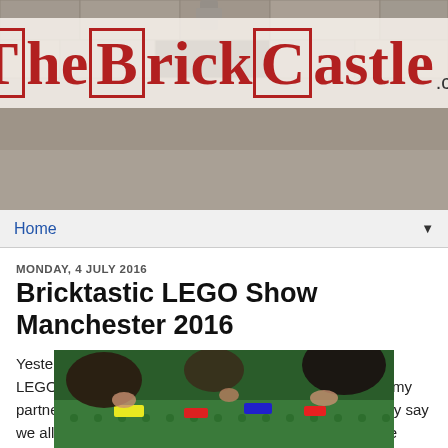[Figure (photo): Stone wall background photo behind the website header logo]
The Brick Castle .com
Home ▼
MONDAY, 4 JULY 2016
Bricktastic LEGO Show Manchester 2016
Yesterday we had an awesome day out at the Bricktastic LEGO show at Manchester Central. 5 of us went - I took my partner and 3 of our boys aged 6, 7 and 18. I can honestly say we all had an excellent time, we spent over 4 hours in the show, and could easily have stayed longer.
[Figure (photo): People's hands playing with LEGO bricks on a green baseplate at the Bricktastic show]